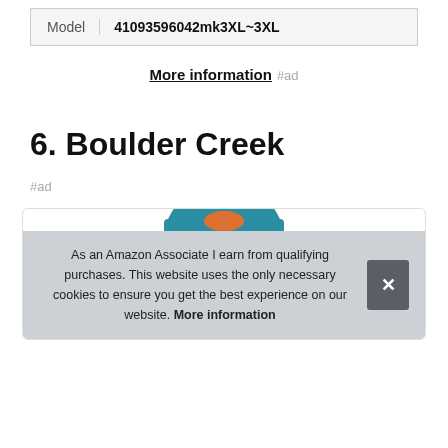| Model | 41093596042mk3XL~3XL |
| --- | --- |
More information #ad
6. Boulder Creek
#ad
[Figure (photo): Product card showing a teal/blue t-shirt partially visible at top, with a cookie consent overlay banner.]
As an Amazon Associate I earn from qualifying purchases. This website uses the only necessary cookies to ensure you get the best experience on our website. More information